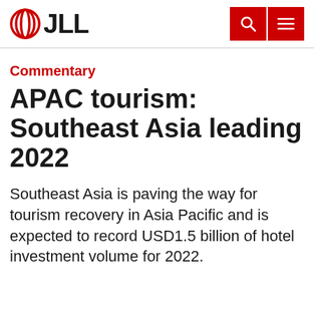JLL
Commentary
APAC tourism: Southeast Asia leading 2022
Southeast Asia is paving the way for tourism recovery in Asia Pacific and is expected to record USD1.5 billion of hotel investment volume for 2022.